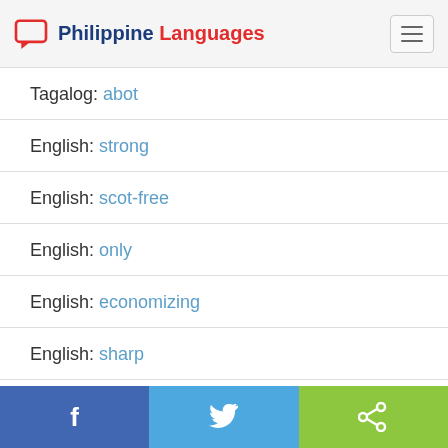Philippine Languages
Tagalog: abot
English: strong
English: scot-free
English: only
English: economizing
English: sharp
Facebook | Twitter | Share